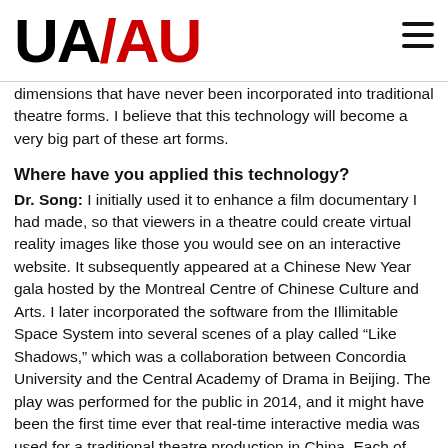UA/AU
dimensions that have never been incorporated into traditional theatre forms. I believe that this technology will become a very big part of these art forms.
Where have you applied this technology?
Dr. Song: I initially used it to enhance a film documentary I had made, so that viewers in a theatre could create virtual reality images like those you would see on an interactive website. It subsequently appeared at a Chinese New Year gala hosted by the Montreal Centre of Chinese Culture and Arts. I later incorporated the software from the Illimitable Space System into several scenes of a play called “Like Shadows,” which was a collaboration between Concordia University and the Central Academy of Drama in Beijing. The play was performed for the public in 2014, and it might have been the first time ever that real-time interactive media was used for a traditional theatre production in China. Each of these performances has provided experience and data that have given us the confidence to keep working on this system. It also gave me the confidence to